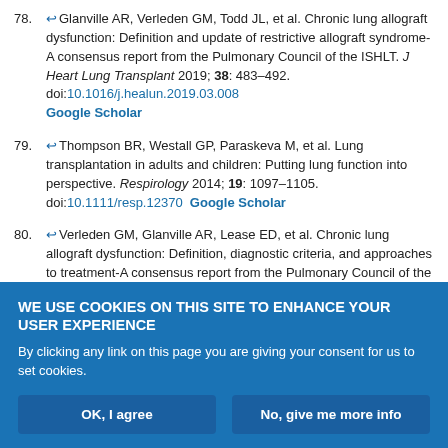78. Glanville AR, Verleden GM, Todd JL, et al. Chronic lung allograft dysfunction: Definition and update of restrictive allograft syndrome-A consensus report from the Pulmonary Council of the ISHLT. J Heart Lung Transplant 2019; 38: 483–492. doi:10.1016/j.healun.2019.03.008 Google Scholar
79. Thompson BR, Westall GP, Paraskeva M, et al. Lung transplantation in adults and children: Putting lung function into perspective. Respirology 2014; 19: 1097–1105. doi:10.1111/resp.12370 Google Scholar
80. Verleden GM, Glanville AR, Lease ED, et al. Chronic lung allograft dysfunction: Definition, diagnostic criteria, and approaches to treatment-A consensus report from the Pulmonary Council of the ISHLT. J Heart Lung Transplant 2019; 38: 493–503. doi:10.1016/j.healun.2019.03.009
WE USE COOKIES ON THIS SITE TO ENHANCE YOUR USER EXPERIENCE
By clicking any link on this page you are giving your consent for us to set cookies.
OK, I agree    No, give me more info